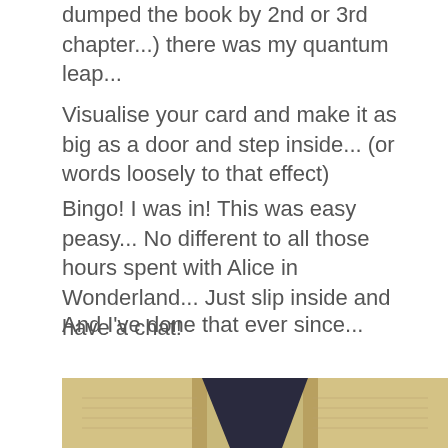dumped the book by 2nd or 3rd chapter...) there was my quantum leap...
Visualise your card and make it as big as a door and step inside... (or words loosely to that effect)
Bingo! I was in! This was easy peasy... No different to all those hours spent with Alice in Wonderland... Just slip inside and have a chat!
And I've done that ever since...
I've always been cautious about following books to the very letter... ever since Mr S showed me this many years ago...
[Figure (photo): Photograph of an open book viewed from above, showing pages fanned open with a dark spine visible]